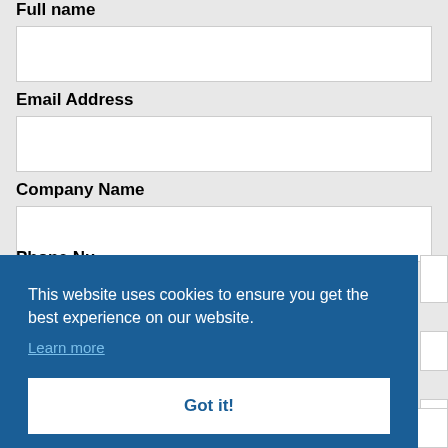Full name
[Full name input field]
Email Address
[Email Address input field]
Company Name
[Company Name input field]
Phone Number
This website uses cookies to ensure you get the best experience on our website.
Learn more
Got it!